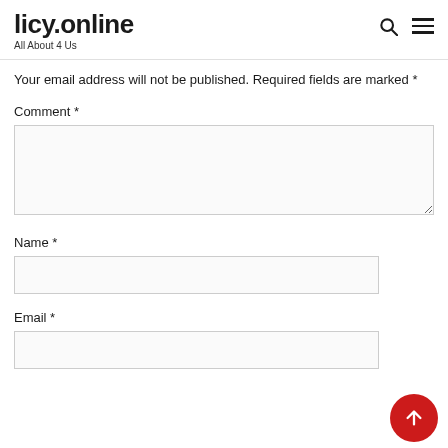licy.online
All About 4 Us
Your email address will not be published. Required fields are marked *
Comment *
Name *
Email *